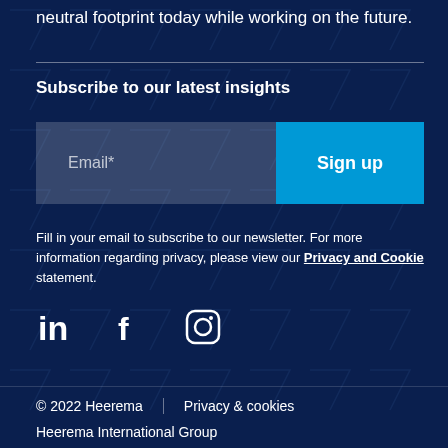neutral footprint today while working on the future.
Subscribe to our latest insights
Email*
Sign up
Fill in your email to subscribe to our newsletter. For more information regarding privacy, please view our Privacy and Cookie statement.
[Figure (illustration): Social media icons: LinkedIn, Facebook, Instagram]
© 2022 Heerema    Privacy & cookies
Heerema International Group